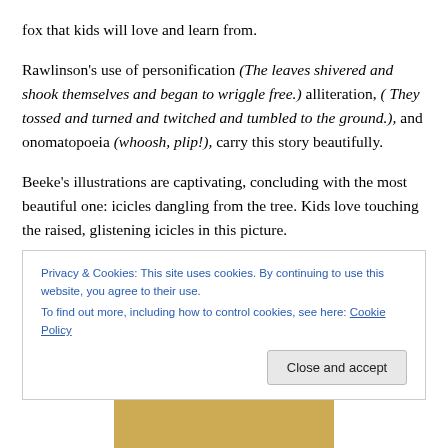fox that kids will love and learn from.
Rawlinson’s use of personification (The leaves shivered and shook themselves and began to wriggle free.) alliteration, ( They tossed and turned and twitched and tumbled to the ground.), and onomatopoeia (whoosh, plip!), carry this story beautifully.
Beeke’s illustrations are captivating, concluding with the most beautiful one: icicles dangling from the tree. Kids love touching the raised, glistening icicles in this picture.
Privacy & Cookies: This site uses cookies. By continuing to use this website, you agree to their use.
To find out more, including how to control cookies, see here: Cookie Policy
Close and accept